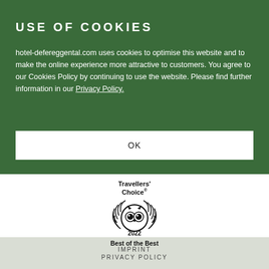USE OF COOKIES
hotel-defereggental.com uses cookies to optimise this website and to make the online experience more attractive to customers. You agree to our Cookies Policy by continuing to use the website. Please find further information in our Privacy Policy.
OK
[Figure (logo): TripAdvisor Travellers' Choice 2022 Best of the Best award badge with owl logo and laurel wreath]
IMPRINT
PRIVACY POLICY